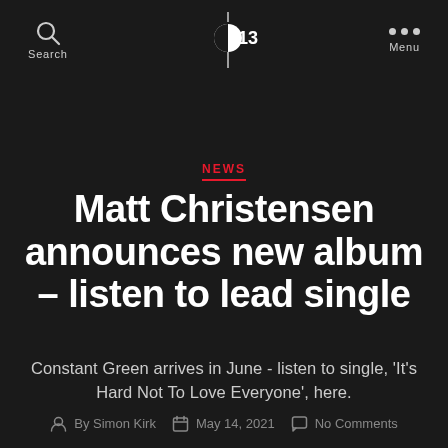Search | 13 | Menu
NEWS
Matt Christensen announces new album – listen to lead single
Constant Green arrives in June - listen to single, 'It's Hard Not To Love Everyone', here.
By Simon Kirk   May 14, 2021   No Comments